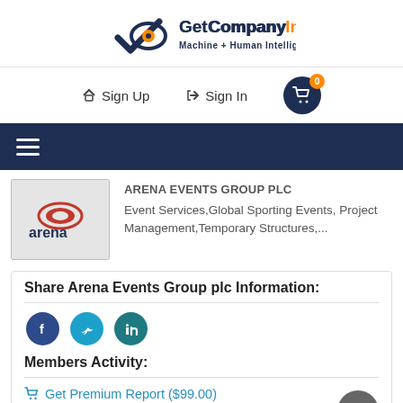[Figure (logo): GetCompanyInfo logo with eye/checkmark icon, orange and dark blue colors, tagline 'Machine + Human Intelligence']
Sign Up
Sign In
[Figure (other): Shopping cart icon with badge showing 0]
[Figure (other): Hamburger menu icon (three horizontal lines) on dark navy background]
[Figure (logo): Arena Events Group PLC company logo - red oval with 'arena' text in dark blue]
ARENA EVENTS GROUP PLC
Event Services,Global Sporting Events, Project Management,Temporary Structures,...
Share Arena Events Group plc Information:
[Figure (other): Social media icons: Facebook (dark blue circle), Twitter (cyan circle), LinkedIn (teal circle)]
Members Activity:
Get Premium Report ($99.00)